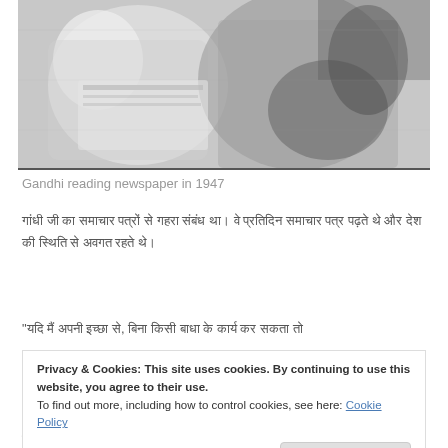[Figure (photo): Black and white photograph of Gandhi reading a newspaper in 1947]
Gandhi reading newspaper in 1947
Hindi/Devanagari script paragraph text (body content about Gandhi reading newspapers)
“Hindi/Devanagari script quote text
Privacy & Cookies: This site uses cookies. By continuing to use this website, you agree to their use. To find out more, including how to control cookies, see here: Cookie Policy
Hindi/Devanagari script text (bottom, partially visible)